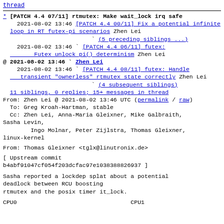thread
* [PATCH 4.4 07/11] rtmutex: Make wait_lock irq safe
  2021-08-02 13:46 [PATCH 4.4 00/11] Fix a potential infinite loop in RT futex-pi scenarios Zhen Lei
                   ` (5 preceding siblings ...)
  2021-08-02 13:46 ` [PATCH 4.4 06/11] futex: Futex unlock pi() determinism Zhen Lei
@ 2021-08-02 13:46 ` Zhen Lei
  2021-08-02 13:46   ` [PATCH 4.4 08/11] futex: Handle transient "ownerless" rtmutex state correctly Zhen Lei
                     ` (4 subsequent siblings)
  11 siblings, 0 replies; 15+ messages in thread
From: Zhen Lei @ 2021-08-02 13:46 UTC (permalink / raw)
  To: Greg Kroah-Hartman, stable
  Cc: Zhen Lei, Anna-Maria Gleixner, Mike Galbraith, Sasha Levin,
        Ingo Molnar, Peter Zijlstra, Thomas Gleixner, linux-kernel
From: Thomas Gleixner <tglx@linutronix.de>
[ Upstream commit b4abf91047cf054f203dcfac97e1038388826937 ]
Sasha reported a lockdep splat about a potential deadlock between RCU boosting rtmutex and the posix timer it_lock.
CPU0                              CPU1